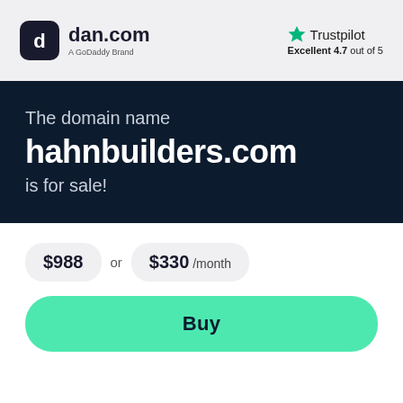[Figure (logo): dan.com logo — dark rounded square icon with 'd' symbol, followed by 'dan.com' text and 'A GoDaddy Brand' subtitle]
[Figure (logo): Trustpilot logo with green star and text 'Trustpilot', rating 'Excellent 4.7 out of 5']
The domain name hahnbuilders.com is for sale!
$988 or $330 /month
Buy